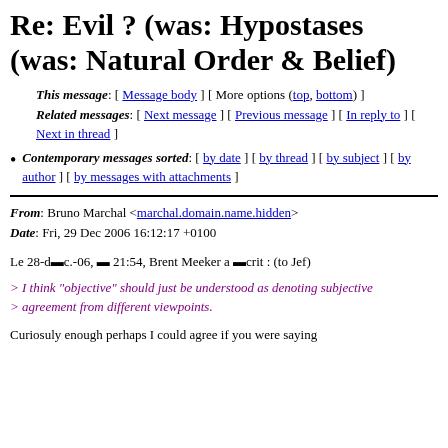Re: Evil ? (was: Hypostases (was: Natural Order & Belief)
This message: [ Message body ] [ More options (top, bottom) ]
Related messages: [ Next message ] [ Previous message ] [ In reply to ] [ Next in thread ]
Contemporary messages sorted: [ by date ] [ by thread ] [ by subject ] [ by author ] [ by messages with attachments ]
From: Bruno Marchal <marchal.domain.name.hidden>
Date: Fri, 29 Dec 2006 16:12:17 +0100
Le 28-d◼ c.-06, ◼ 21:54, Brent Meeker a ◼crit : (to Jef)
> I think "objective" should just be understood as denoting subjective
> agreement from different viewpoints.
Curiosuly enough perhaps I could agree if you were saying